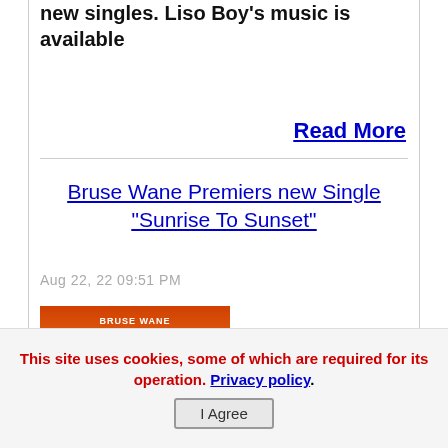new singles. Liso Boy's music is available
Read More
Bruse Wane Premiers new Single "Sunrise To Sunset"
Aug 22, 22 09:51 PM
[Figure (photo): Album cover for Bruse Wane's 'Sunrise To Sunset' - shows a woman and man embracing with a tiger and sunset background with palm trees, text reads BRUSE WANE SUNRISE 2 SUNSET]
Bruse Wane is a Jamaican Hip Hop & Reggae artist. Bruse Wane was born in
This site uses cookies, some of which are required for its operation. Privacy policy.
I Agree